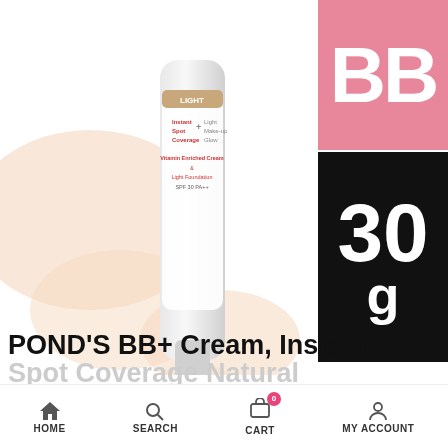[Figure (photo): POND'S BB+ Cream product bottle with cream swipe on white background, showing 'Instant Spot Coverage + Light Make-up Glow, Vitamin Enriched Cream & Light Foundation SPF 30 PA++' label. Top right: pink square with 'BB' text. Below: black square with '30 g'.]
[Figure (photo): Row of 4 thumbnail images of POND'S BB Cream product variants with BB Cream label and 30g badge]
POND'S BB+ Cream, Instant Spot Coverage Natural
HOME  SEARCH  CART 0  MY ACCOUNT